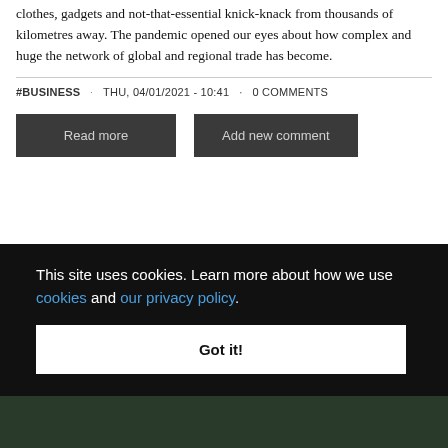clothes, gadgets and not-that-essential knick-knack from thousands of kilometres away. The pandemic opened our eyes about how complex and huge the network of global and regional trade has become.
#BUSINESS · THU, 04/01/2021 - 10:41 · 0 COMMENTS
Read more
Add new comment
This site uses cookies. Learn more about how we use cookies and our privacy policy.
Got it!